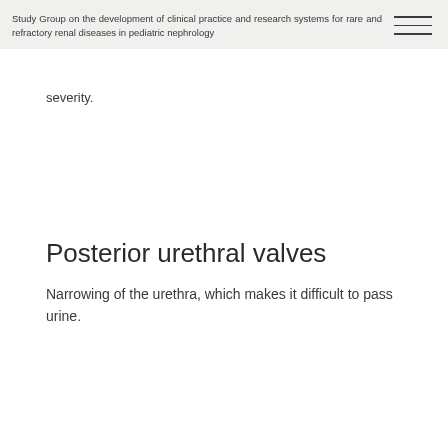Study Group on the development of clinical practice and research systems for rare and refractory renal diseases in pediatric nephrology
severity.
Posterior urethral valves
Narrowing of the urethra, which makes it difficult to pass urine.